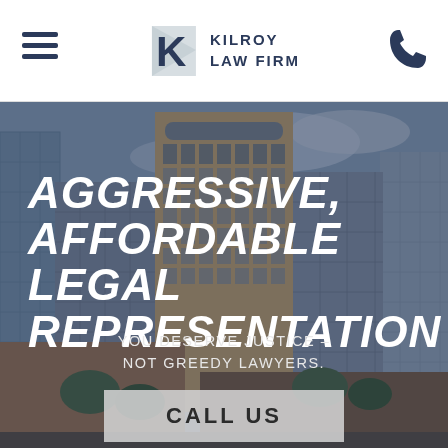Kilroy Law Firm
[Figure (screenshot): City skyline photo with tall buildings used as hero background image]
AGGRESSIVE, AFFORDABLE LEGAL REPRESENTATION
YOU DESERVE JUSTICE – NOT GREEDY LAWYERS.
CALL US
TEXT US